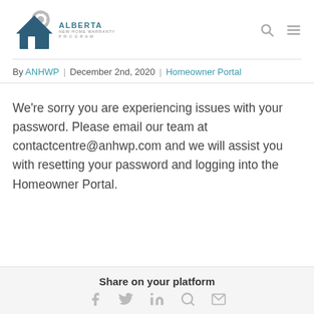Alberta New Home Warranty Program logo with search and menu icons
By ANHWP | December 2nd, 2020 | Homeowner Portal
We’re sorry you are experiencing issues with your password. Please email our team at contactcentre@anhwp.com and we will assist you with resetting your password and logging into the Homeowner Portal.
Share on your platform